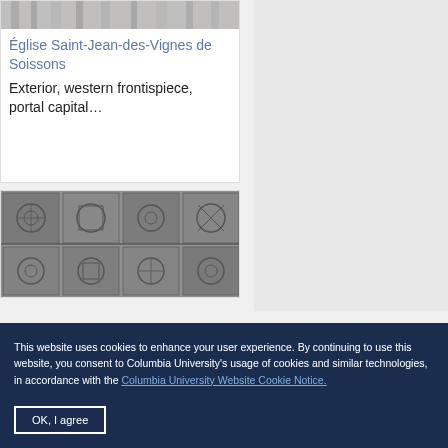[Figure (photo): Partial view of stone architectural detail, cropped at top]
Église Saint-Jean-des-Vignes de Soissons
Exterior, western frontispiece, portal capital…
[Figure (photo): Black and white photograph of decorative stone relief with geometric and floral patterns on a church facade]
This website uses cookies to enhance your user experience. By continuing to use this website, you consent to Columbia University's usage of cookies and similar technologies, in accordance with the Columbia University Website Cookie Notice.
OK, I agree